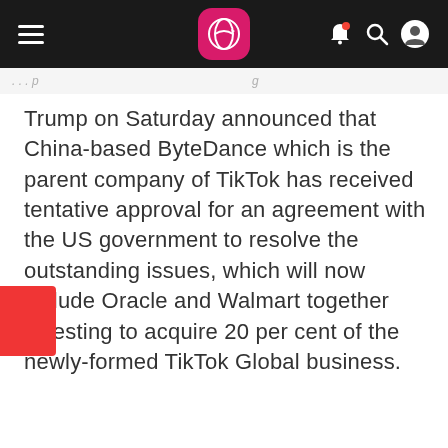[Navigation bar with hamburger menu, logo, bell notification, search, and profile icons]
Trump on Saturday announced that China-based ByteDance which is the parent company of TikTok has received tentative approval for an agreement with the US government to resolve the outstanding issues, which will now include Oracle and Walmart together investing to acquire 20 per cent of the newly-formed TikTok Global business.